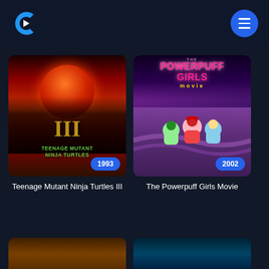[Figure (logo): Crackle streaming service logo - blue C shape with play triangle]
[Figure (illustration): Hamburger menu button - blue circle with three white lines]
[Figure (photo): Teenage Mutant Ninja Turtles III movie poster with red moon and silhouettes, year badge 1993]
Teenage Mutant Ninja Turtles III
[Figure (illustration): The Powerpuff Girls Movie poster with pink/purple title and three cartoon girl characters, year badge 2002]
The Powerpuff Girls Movie
[Figure (photo): Partial movie poster thumbnail at bottom left, partially visible]
[Figure (photo): Partial movie poster thumbnail at bottom right, partially visible]